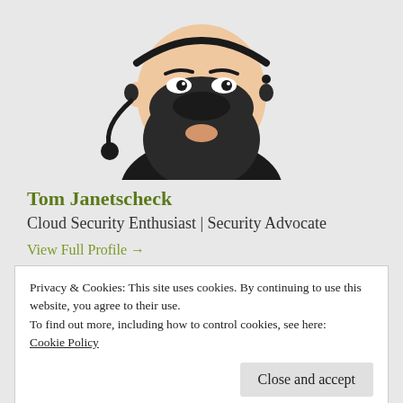[Figure (illustration): Cartoon avatar of a man with black beard, wearing a headset and dark shirt]
Tom Janetscheck
Cloud Security Enthusiast | Security Advocate
View Full Profile →
Privacy & Cookies: This site uses cookies. By continuing to use this website, you agree to their use.
To find out more, including how to control cookies, see here:
Cookie Policy
Close and accept